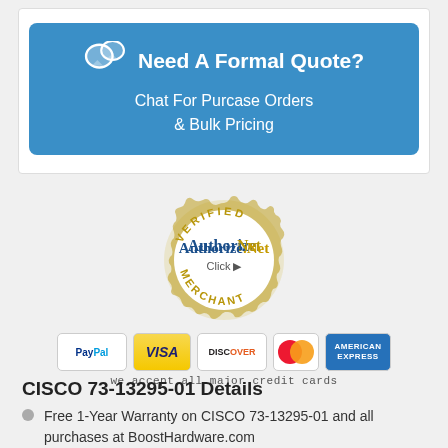[Figure (infographic): Blue rounded banner with chat icon. Title: 'Need A Formal Quote?' with subtitle 'Chat For Purcase Orders & Bulk Pricing']
[Figure (logo): Authorize.Net Verified Merchant Click badge (gold gear border, blue text)]
[Figure (infographic): Row of payment method icons: PayPal, Visa, Discover, MasterCard, American Express]
we accept all major credit cards
CISCO 73-13295-01 Details
Free 1-Year Warranty on CISCO 73-13295-01 and all purchases at BoostHardware.com